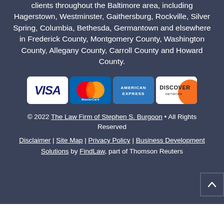clients throughout the Baltimore area, including Hagerstown, Westminster, Gaithersburg, Rockville, Silver Spring, Columbia, Bethesda, Germantown and elsewhere in Frederick County, Montgomery County, Washington County, Allegany County, Carroll County and Howard County.
[Figure (other): Payment method logos: VISA, MasterCard, American Express, Discover Network]
© 2022 The Law Firm of Stephen S. Burgoon • All Rights Reserved
Disclaimer | Site Map | Privacy Policy | Business Development Solutions by FindLaw, part of Thomson Reuters